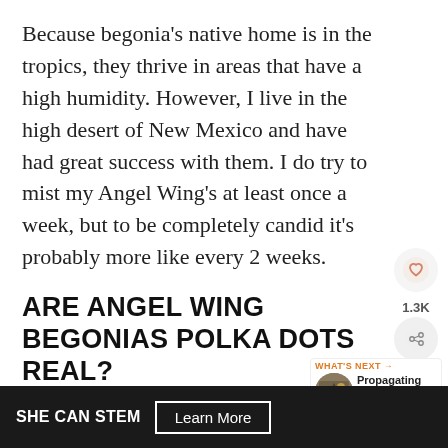Because begonia's native home is in the tropics, they thrive in areas that have a high humidity. However, I live in the high desert of New Mexico and have had great success with them. I do try to mist my Angel Wing's at least once a week, but to be completely candid it's probably more like every 2 weeks.
ARE ANGEL WING BEGONIAS POLKA DOTS REAL?
Polka dot Begonias are cane begonias, which have…
[Figure (other): Heart/save button icon (circular peach/salmon background with heart outline)]
[Figure (other): Share count 1.3K with share icon button]
[Figure (other): What's Next widget showing Propagating Angel Wing... article thumbnail]
[Figure (other): SHE CAN STEM advertisement banner with Learn More button]